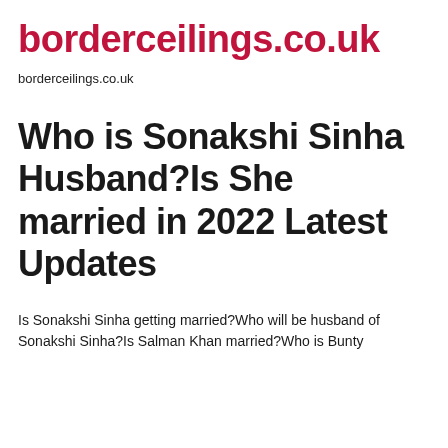borderceilings.co.uk
borderceilings.co.uk
Who is Sonakshi Sinha Husband?Is She married in 2022 Latest Updates
Is Sonakshi Sinha getting married?Who will be husband of Sonakshi Sinha?Is Salman Khan married?Who is Bunty